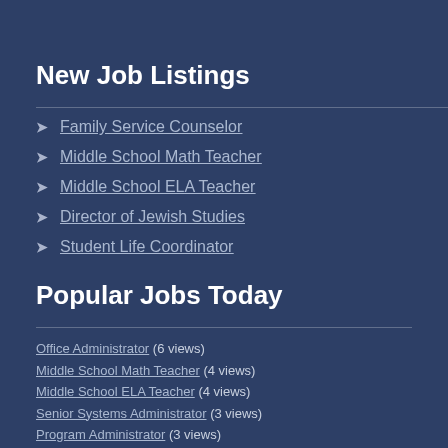New Job Listings
Family Service Counselor
Middle School Math Teacher
Middle School ELA Teacher
Director of Jewish Studies
Student Life Coordinator
Popular Jobs Today
Office Administrator (6 views)
Middle School Math Teacher (4 views)
Middle School ELA Teacher (4 views)
Senior Systems Administrator (3 views)
Program Administrator (3 views)
General Studies Teacher (3 views)
Student Life Coordinator (3 views)
Director of Jewish Studies (3 views)